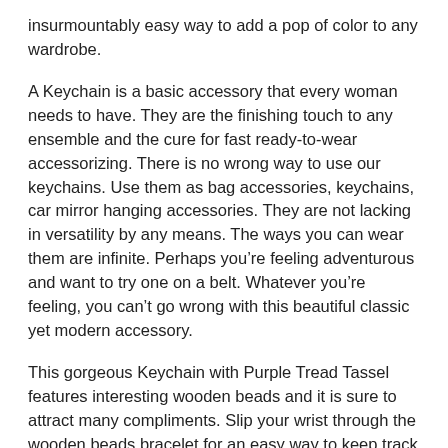insurmountably easy way to add a pop of color to any wardrobe.
A Keychain is a basic accessory that every woman needs to have. They are the finishing touch to any ensemble and the cure for fast ready-to-wear accessorizing. There is no wrong way to use our keychains. Use them as bag accessories, keychains, car mirror hanging accessories. They are not lacking in versatility by any means. The ways you can wear them are infinite. Perhaps you're feeling adventurous and want to try one on a belt. Whatever you're feeling, you can't go wrong with this beautiful classic yet modern accessory.
This gorgeous Keychain with Purple Tread Tassel features interesting wooden beads and it is sure to attract many compliments. Slip your wrist through the wooden beads bracelet for an easy way to keep track of your keys. It is also our new favorite styling trick for decorating a bag, or for updating an old one.
Not shopping for yourself? These luxury keychains make incredible gifts!